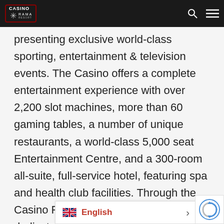Casino Rama Resort is Ontario's only First Nations Casino and has earned a reputation presenting exclusive world-class sporting, entertainment & television events.
presenting exclusive world-class sporting, entertainment & television events. The Casino offers a complete entertainment experience with over 2,200 slot machines, more than 60 gaming tables, a number of unique restaurants, a world-class 5,000 seat Entertainment Centre, and a 300-room all-suite, full-service hotel, featuring spa and health club facilities. Through the Casino Rama Cares program we are dedicated to continuing our rich history of community support by being an outstanding corporate neighbour; providing year-round assistance through a combination of charitable giving and employee volunteerism. Casino Rama Resort is operated by Gateway Casinos & Entertainment Ltd.
English